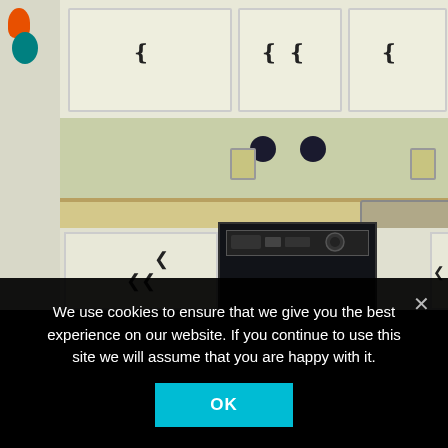[Figure (photo): Indoor kitchen photo showing white upper and lower cabinets with black handles, a light-colored countertop, a black dishwasher, a stainless steel sink, a light green/tan backsplash wall, hanging dark circular pots/utensils, wall outlets, a partial view of a white refrigerator on the left, and orange and teal items hanging on the fridge.]
We use cookies to ensure that we give you the best experience on our website. If you continue to use this site we will assume that you are happy with it.
OK